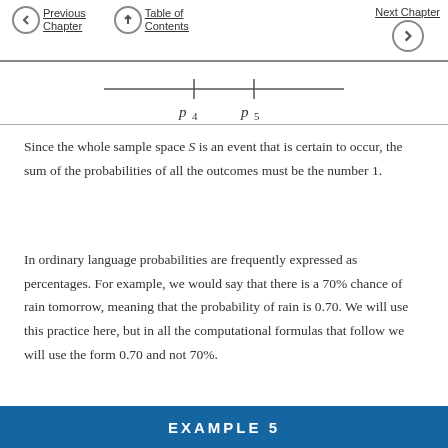Previous Chapter | Table of Contents | Next Chapter
[Figure (other): Number line segment showing p4 and p5 tick marks]
Since the whole sample space S is an event that is certain to occur, the sum of the probabilities of all the outcomes must be the number 1.
In ordinary language probabilities are frequently expressed as percentages. For example, we would say that there is a 70% chance of rain tomorrow, meaning that the probability of rain is 0.70. We will use this practice here, but in all the computational formulas that follow we will use the form 0.70 and not 70%.
EXAMPLE 5